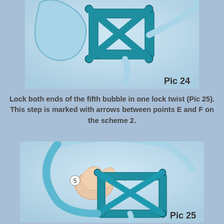[Figure (photo): Photo of balloon art sculpture made with teal/blue balloons twisted into a geometric shape. Labeled 'Pic 24' in bottom right.]
Lock both ends of the fifth bubble in one lock twist (Pic 25). This step is marked with arrows between points E and F on the scheme 2.
[Figure (photo): Photo of hands holding balloon art sculpture with teal/blue balloons twisted into a geometric shape, with number '5' marked. Labeled 'Pic 25' in bottom right.]